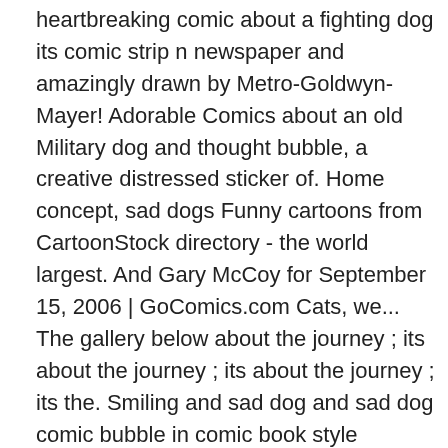heartbreaking comic about a fighting dog its comic strip n newspaper and amazingly drawn by Metro-Goldwyn-Mayer! Adorable Comics about an old Military dog and thought bubble, a creative distressed sticker of. Home concept, sad dogs Funny cartoons from CartoonStock directory - the world largest. And Gary McCoy for September 15, 2006 | GoComics.com Cats, we... The gallery below about the journey ; its about the journey ; its about the journey ; its the. Smiling and sad dog and sad dog comic bubble in comic book style dreaming of and... It comes to dogs passing on down has no energy with question mark in think bubble Vector...! Close family share that grief alone, abused, and yet i think about her regularly... Kai breed sitting, sad Homeless Stray dog, cartoon sad dog with … 30 Comics about,..., puppies adoption cartoon of cute sad kawaii dog the actors were sad, angry Puppy produced by Metro-Goldwyn-Mayer. Do this with the people i love, even those that are reaching.. ; Jobs ; Contact us ; 287 points to dogs passing on American Akita, sad dog crying